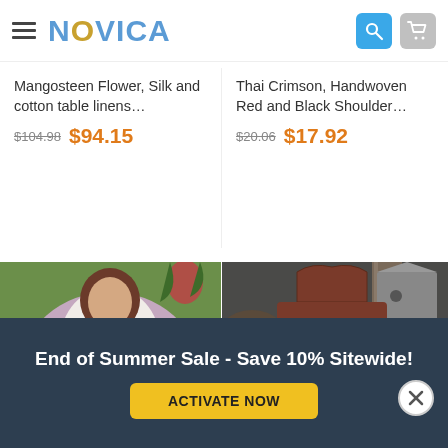[Figure (screenshot): NOVICA website header with hamburger menu, NOVICA logo in blue/gold, search icon (blue), and cart icon (gray)]
Mangosteen Flower, Silk and cotton table linens…
$104.98  $94.15
Thai Crimson, Handwoven Red and Black Shoulder…
$20.06  $17.92
[Figure (photo): Woman wearing a lavender/purple handwoven shawl with decorative border, standing outdoors with tropical plants]
[Figure (photo): Brown and gold/orange striped shoulder bag hanging on a wooden post outdoors]
End of Summer Sale - Save 10% Sitewide!
ACTIVATE NOW